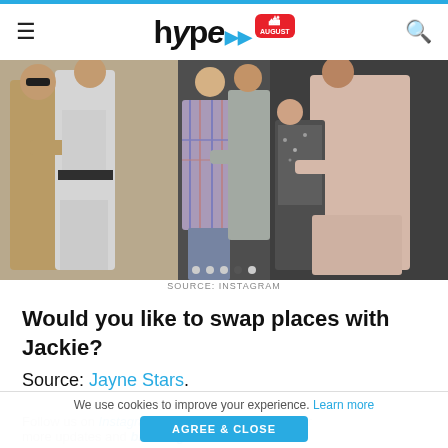hype AUGUST
[Figure (photo): Collage of three pairs of people hugging or embracing on stage: left pair shows a man in beige jacket with a woman in white; center pair shows a man in plaid shirt embracing a woman; right pair shows a man in light pink outfit with a woman.]
SOURCE: INSTAGRAM
Would you like to swap places with Jackie?
Source: Jayne Stars.
Follow us on Instagram, Facebook or Telegram for more updates and breaking news.
We use cookies to improve your experience. Learn more AGREE & CLOSE